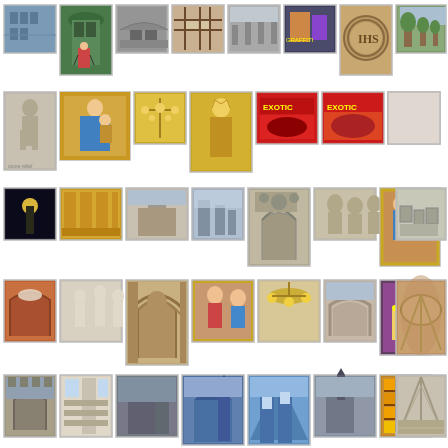[Figure (photo): Grid of thumbnail photographs arranged in 5 rows, showing various architectural, religious, and street scenes including churches, cathedrals, statues, religious art, street signs, and interiors.]